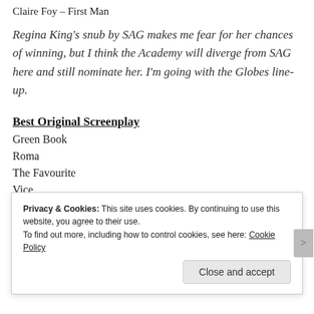Claire Foy – First Man
Regina King's snub by SAG makes me fear for her chances of winning, but I think the Academy will diverge from SAG here and still nominate her. I'm going with the Globes line-up.
Best Original Screenplay
Green Book
Roma
The Favourite
Vice
Eighth Grade
Privacy & Cookies: This site uses cookies. By continuing to use this website, you agree to their use.
To find out more, including how to control cookies, see here: Cookie Policy
Close and accept